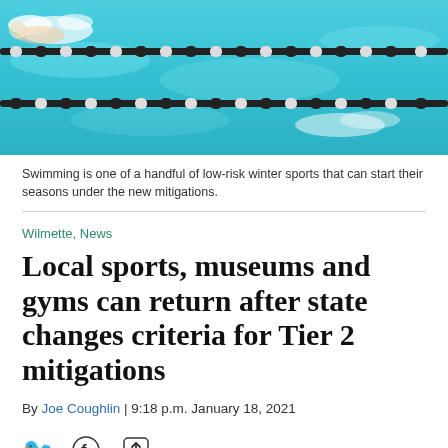[Figure (photo): Aerial view of a swimming pool with lane dividers and swimmers, blue water with black lane ropes]
Swimming is one of a handful of low-risk winter sports that can start their seasons under the new mitigations.
Wilmette, News
Local sports, museums and gyms can return after state changes criteria for Tier 2 mitigations
By Joe Coughlin | 9:18 p.m. January 18, 2021
[Figure (other): Social media share icons: Twitter bird, Facebook f, share/upload icon]
After “adjusting the metrics,” the Illinois